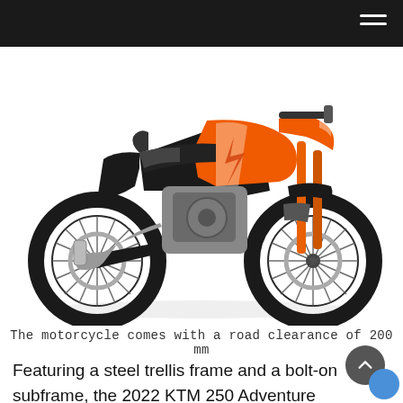[Figure (photo): KTM 250 Adventure motorcycle in orange, white and black livery, shown in side profile view against white background. The bike features spoke wheels, an adventure-style body, orange forks, and a silver exhaust canister.]
The motorcycle comes with a road clearance of 200 mm
Featuring a steel trellis frame and a bolt-on subframe, the 2022 KTM 250 Adventure comes with a narrow seat, tapered steel handlebar, an adjustable flyscreen, and WP Apex suspension in the front (170 mm travel) and rear (177 mm